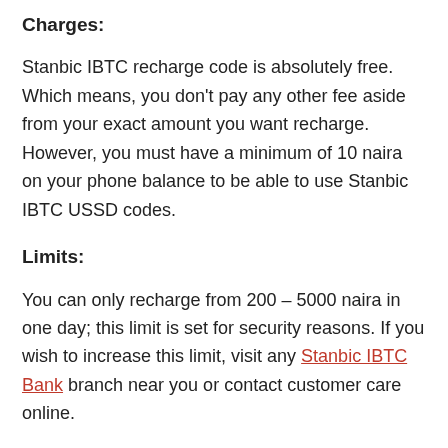Charges:
Stanbic IBTC recharge code is absolutely free. Which means, you don't pay any other fee aside from your exact amount you want recharge. However, you must have a minimum of 10 naira on your phone balance to be able to use Stanbic IBTC USSD codes.
Limits:
You can only recharge from 200 – 5000 naira in one day; this limit is set for security reasons. If you wish to increase this limit, visit any Stanbic IBTC Bank branch near you or contact customer care online.
Other points to note about Stanbic IBTC Bank recharge code
Recharging from Stanbic IBTC account is not reversible